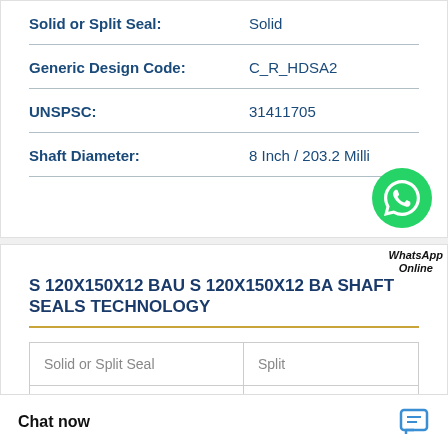| Solid or Split Seal: | Solid |
| Generic Design Code: | C_R_HDSA2 |
| UNSPSC: | 31411705 |
| Shaft Diameter: | 8 Inch / 203.2 Milli |
[Figure (logo): WhatsApp green phone icon with WhatsApp Online label]
S 120X150X12 BAU S 120X150X12 BA SHAFT SEALS TECHNOLOGY
| Solid or Split Seal | Split |
|  | eal |
Chat now